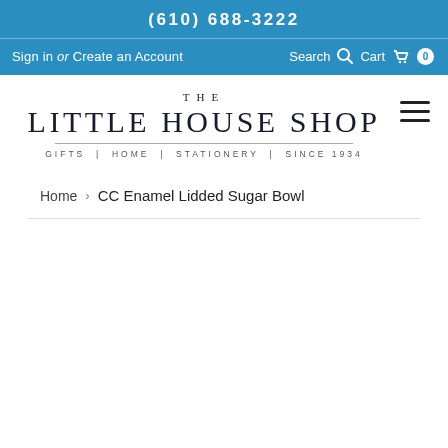(610) 688-3222
Sign in or Create an Account  Search  Cart 0
[Figure (logo): The Little House Shop logo with tagline: GIFTS | HOME | STATIONERY | SINCE 1934]
Home › CC Enamel Lidded Sugar Bowl